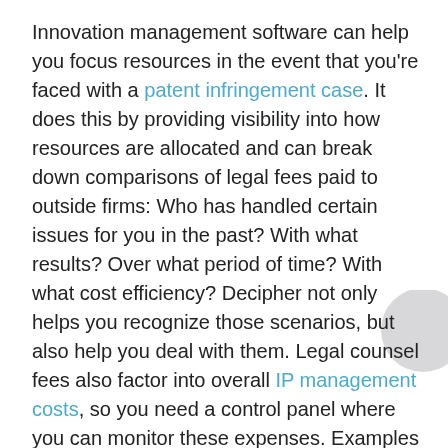Innovation management software can help you focus resources in the event that you're faced with a patent infringement case. It does this by providing visibility into how resources are allocated and can break down comparisons of legal fees paid to outside firms: Who has handled certain issues for you in the past? With what results? Over what period of time? With what cost efficiency? Decipher not only helps you recognize those scenarios, but also help you deal with them. Legal counsel fees also factor into overall IP management costs, so you need a control panel where you can monitor these expenses. Examples include identifying well-performing and under-performing intellectual property so you can pinpoint which assets need follow-on protection or may be best to sell off. With Decipher, users can understand outside legal expenses for all intellectual property-related activities.